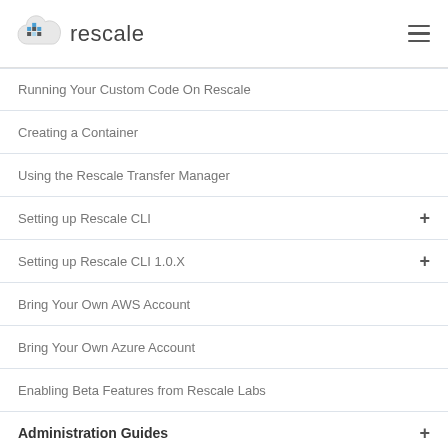rescale
Running Your Custom Code On Rescale
Creating a Container
Using the Rescale Transfer Manager
Setting up Rescale CLI
Setting up Rescale CLI 1.0.X
Bring Your Own AWS Account
Bring Your Own Azure Account
Enabling Beta Features from Rescale Labs
Administration Guides
FAQs